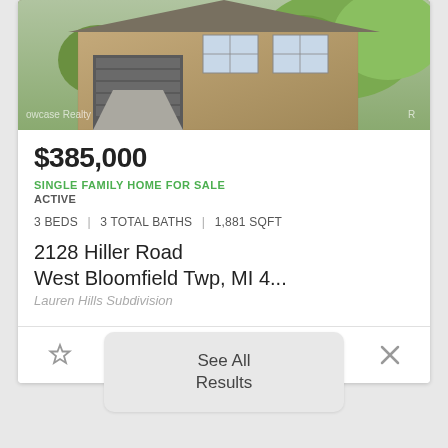[Figure (photo): Exterior photo of a brick single family home with garage, driveway, and trees. Watermark reads 'Showcase Realty'.]
$385,000
SINGLE FAMILY HOME FOR SALE
ACTIVE
3 BEDS | 3 TOTAL BATHS | 1,881 SQFT
2128 Hiller Road
West Bloomfield Twp, MI 4...
Lauren Hills Subdivision
See All
Results